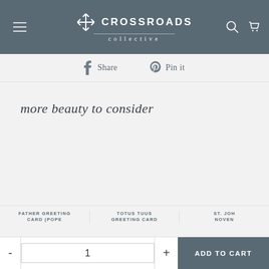CROSSROADS collective
Share   Pin it
more beauty to consider
FATHER GREETING CARD (POPE
TOTUS TUUS GREETING CARD
ST. JOH NOVEN
- 1 + ADD TO CART